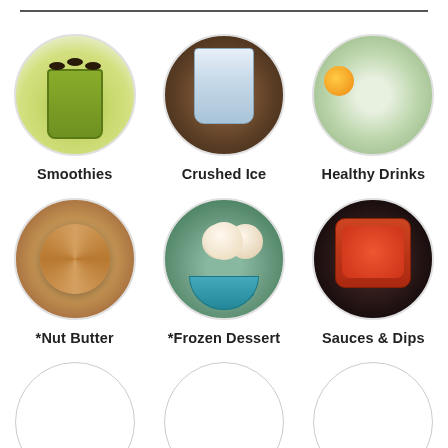[Figure (illustration): Circular image of a green smoothie in a glass jar with blueberries]
Smoothies
[Figure (illustration): Circular image of crushed ice in a glass]
Crushed Ice
[Figure (illustration): Circular image of healthy drinks including juices and fruits]
Healthy Drinks
[Figure (illustration): Circular image of nut butter in a bowl]
*Nut Butter
[Figure (illustration): Circular image of frozen dessert ice cream scoops in a bowl]
*Frozen Dessert
[Figure (illustration): Circular image of sauces and dips in a bowl]
Sauces & Dips
[Figure (illustration): Empty circle placeholder]
[Figure (illustration): Empty circle placeholder]
[Figure (illustration): Empty circle placeholder]